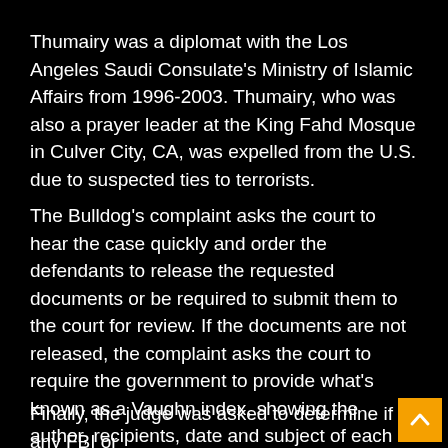Thumairy was a diplomat with the Los Angeles Saudi Consulate's Ministry of Islamic Affairs from 1996-2003. Thumairy, who was also a prayer leader at the King Fahd Mosque in Culver City, CA, was expelled from the U.S. due to suspected ties to terrorists.
The Bulldog's complaint asks the court to hear the case quickly and order the defendants to release the requested documents or be required to submit them to the court for review. If the documents are not released, the complaint asks the court to require the government to provide what's known as a Vaughn index, showing the author, recipients, date and subject of each document.
Finally, the judge was asked to determine if any FBI or